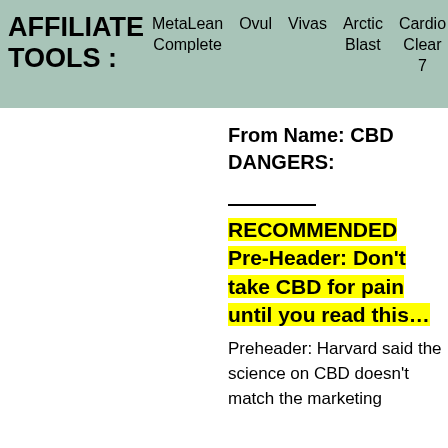AFFILIATE TOOLS : MetaLean Complete Ovul Vivas Arctic Blast Cardio Clear 7
From Name: CBD DANGERS:
RECOMMENDED Pre-Header: Don't take CBD for pain until you read this...
Preheader: Harvard said the science on CBD doesn't match the marketing